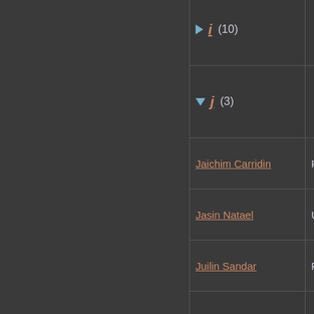| Name | Rarity | Artist | Type | Set |
| --- | --- | --- | --- | --- |
| i (10) |  |  |  |  |
| j (3) |  |  |  |  |
| Jaichim Carridin | Rare | Bill O'Conner | Character | Dark On... |
| Jasin Natael | Uncommon | Liz Danforth | Advantage | Character... |
| Juilin Sandar | Rare | Nan Fredman | Character | Tear |
| k (1) |  |  |  |  |
| Knowledge Is Power | Common | Nan Fredman | Event |  |
| l (27) |  |  |  |  |
| m (10) |  |  |  |  |